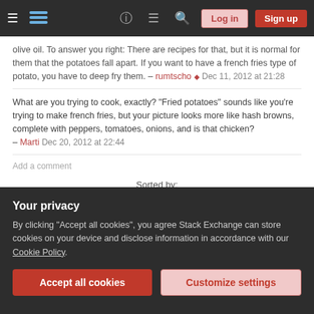Stack Exchange navigation bar with hamburger menu, logo, help, chat, search icons, Log in and Sign up buttons
olive oil. To answer you right: There are recipes for that, but it is normal for them that the potatoes fall apart. If you want to have a french fries type of potato, you have to deep fry them. – rumtscho ♦ Dec 11, 2012 at 21:28
What are you trying to cook, exactly? "Fried potatoes" sounds like you're trying to make french fries, but your picture looks more like hash browns, complete with peppers, tomatoes, onions, and is that chicken? – Marti Dec 20, 2012 at 22:44
Add a comment
Sorted by:
Your privacy
By clicking "Accept all cookies", you agree Stack Exchange can store cookies on your device and disclose information in accordance with our Cookie Policy.
Accept all cookies
Customize settings
1. Use waxy ( new ) potatoes. These potatoes